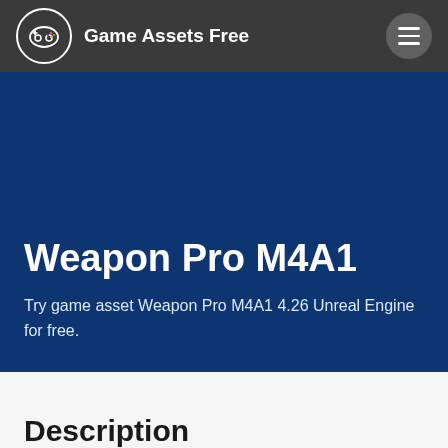Game Assets Free
Weapon Pro M4A1
Try game asset Weapon Pro M4A1 4.26 Unreal Engine for free.
Description